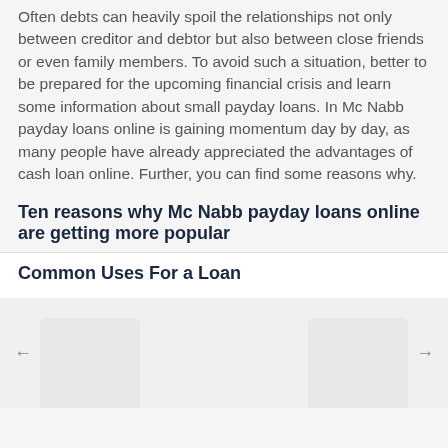Often debts can heavily spoil the relationships not only between creditor and debtor but also between close friends or even family members. To avoid such a situation, better to be prepared for the upcoming financial crisis and learn some information about small payday loans. In Mc Nabb payday loans online is gaining momentum day by day, as many people have already appreciated the advantages of cash loan online. Further, you can find some reasons why.
Ten reasons why Mc Nabb payday loans online are getting more popular
Common Uses For a Loan
[Figure (other): Carousel navigation area with left and right arrow buttons and partially visible card thumbnails at the bottom of the page]